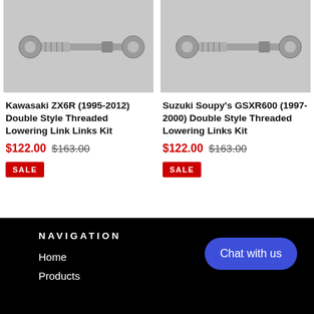[Figure (photo): Metal threaded lowering link hardware, close-up photo on grey background]
Kawasaki ZX6R (1995-2012) Double Style Threaded Lowering Link Links Kit
$122.00  $163.00
SALE
[Figure (photo): Metal threaded lowering link hardware, close-up photo on grey background]
Suzuki Soupy's GSXR600 (1997-2000) Double Style Threaded Lowering Links Kit
$122.00  $163.00
SALE
NAVIGATION
Home
Products
Chat with us